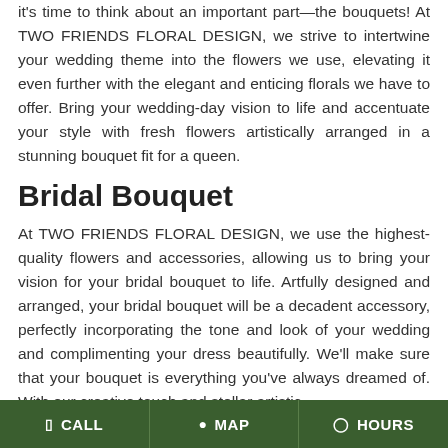it's time to think about an important part—the bouquets! At TWO FRIENDS FLORAL DESIGN, we strive to intertwine your wedding theme into the flowers we use, elevating it even further with the elegant and enticing florals we have to offer. Bring your wedding-day vision to life and accentuate your style with fresh flowers artistically arranged in a stunning bouquet fit for a queen.
Bridal Bouquet
At TWO FRIENDS FLORAL DESIGN, we use the highest-quality flowers and accessories, allowing us to bring your vision for your bridal bouquet to life. Artfully designed and arranged, your bridal bouquet will be a decadent accessory, perfectly incorporating the tone and look of your wedding and complimenting your dress beautifully. We'll make sure that your bouquet is everything you've always dreamed of. With our creative touch and stellar artistic...
CALL   MAP   HOURS